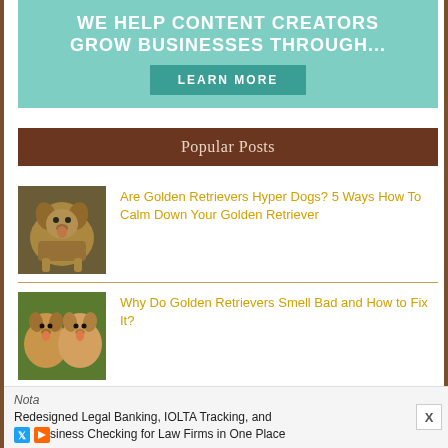[Figure (infographic): Teal/turquoise banner advertisement reading 'WE HELP CONTENT CREATORS GROW BUSINESSES THROUGH...' with a 'LEARN MORE' button]
Popular Posts
[Figure (photo): Photo of a golden retriever dog looking at camera outdoors on grass]
Are Golden Retrievers Hyper Dogs? 5 Ways How To Calm Down Your Golden Retriever
[Figure (photo): Photo of two golden retrievers side by side outdoors]
Why Do Golden Retrievers Smell Bad and How to Fix It?
[Figure (photo): Photo of a golden retriever dog outdoors partially visible]
10 Questions to Consider When Adding A Second Dog | Another Golden Retriever
[Figure (screenshot): Bottom advertisement overlay from Nota: 'Redesigned Legal Banking, IOLTA Tracking, and Business Checking for Law Firms in One Place' with X close button]